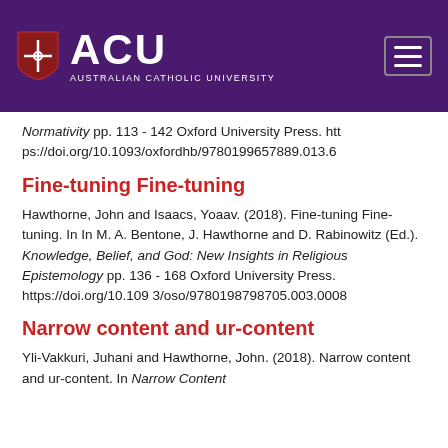[Figure (logo): ACU Australian Catholic University logo with shield on purple header background and hamburger menu icon]
Normativity pp. 113 - 142 Oxford University Press. https://doi.org/10.1093/oxfordhb/9780199657889.013.6
Fine-tuning Fine-tuning
Hawthorne, John and Isaacs, Yoaav. (2018). Fine-tuning Fine-tuning. In In M. A. Bentone, J. Hawthorne and D. Rabinowitz (Ed.). Knowledge, Belief, and God: New Insights in Religious Epistemology pp. 136 - 168 Oxford University Press. https://doi.org/10.1093/oso/9780198798705.003.0008
Narrow content and ur-content
Yli-Vakkuri, Juhani and Hawthorne, John. (2018). Narrow content and ur-content. In Narrow Content